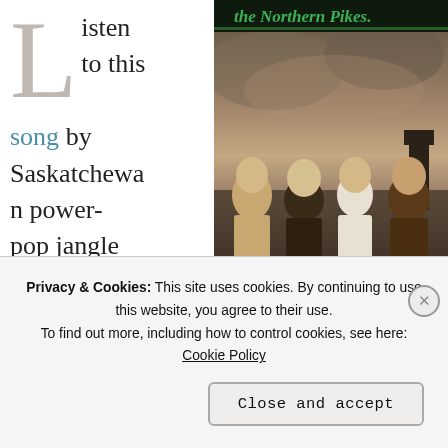Listen to this song by Saskatchewan power-pop jangle merchants Northern
[Figure (photo): Album cover for The Northern Pikes showing four band members posed outdoors with a stormy sky background. The band name 'The Northern Pikes' is written in green script at the top of the cover.]
P... t... ...
Privacy & Cookies: This site uses cookies. By continuing to use this website, you agree to their use. To find out more, including how to control cookies, see here: Cookie Policy
Close and accept